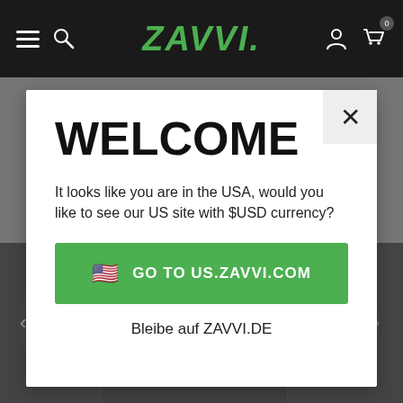[Figure (screenshot): Zavvi e-commerce website navigation bar with hamburger menu, search icon, Zavvi logo in green italic bold font, person icon, and shopping cart icon with badge showing 0, on black background]
[Figure (screenshot): Welcome modal dialog on Zavvi.de website asking US users if they want to visit the US site with USD currency, with a green button to go to US.ZAVVI.COM and a text link to stay on ZAVVI.DE. Modal has a close X button in top right corner.]
WELCOME
It looks like you are in the USA, would you like to see our US site with $USD currency?
🇺🇸  GO TO US.ZAVVI.COM
Bleibe auf ZAVVI.DE
[Figure (photo): Dark background showing merchandise/concert t-shirts and items, with left arrow navigation control visible]